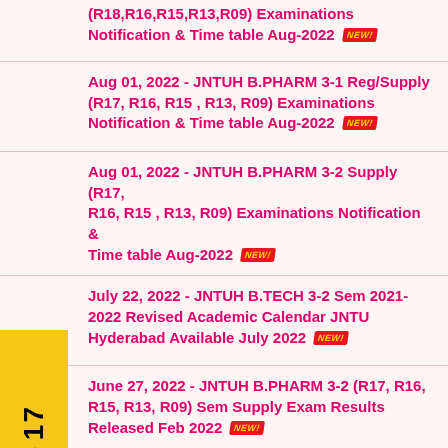(R18,R16,R15,R13,R09) Examinations Notification & Time table Aug-2022 NEW!
Aug 01, 2022 - JNTUH B.PHARM 3-1 Reg/Supply (R17, R16, R15 , R13, R09) Examinations Notification & Time table Aug-2022 NEW!
Aug 01, 2022 - JNTUH B.PHARM 3-2 Supply (R17, R16, R15 , R13, R09) Examinations Notification & Time table Aug-2022 NEW!
July 22, 2022 - JNTUH B.TECH 3-2 Sem 2021-2022 Revised Academic Calendar JNTU Hyderabad Available July 2022 NEW!
June 27, 2022 - JNTUH B.PHARM 3-2 (R17, R16, R15, R13, R09) Sem Supply Exam Results Released Feb 2022 NEW!